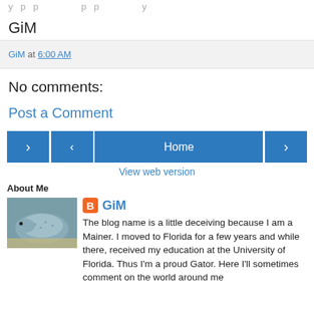...y p p ...p p y
GiM
GiM at 6:00 AM
No comments:
Post a Comment
[Figure (other): Navigation bar with left arrow button, Home button, and right arrow button]
View web version
About Me
[Figure (photo): Photo of a reptile, likely a lizard or crocodile, on a sandy surface]
GiM
The blog name is a little deceiving because I am a Mainer. I moved to Florida for a few years and while there, received my education at the University of Florida. Thus I'm a proud Gator. Here I'll sometimes comment on the world around me